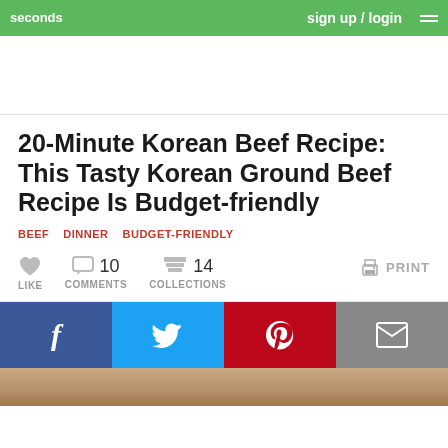seconds | sign up / login
20-Minute Korean Beef Recipe: This Tasty Korean Ground Beef Recipe Is Budget-friendly
BEEF   DINNER   BUDGET-FRIENDLY
LIKE  10 COMMENTS  14 COLLECTIONS  PRINT
[Figure (screenshot): Social share buttons: Facebook, Twitter, Pinterest, Email]
[Figure (photo): Bottom partial photo of Korean beef dish]